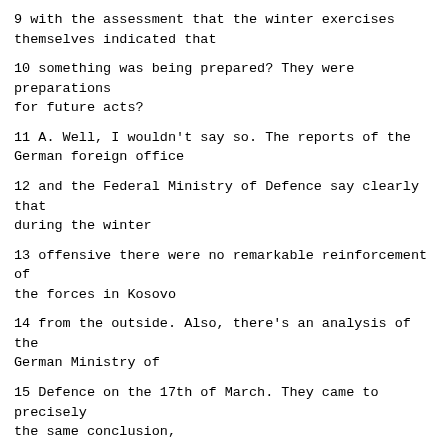9 with the assessment that the winter exercises themselves indicated that
10 something was being prepared? They were preparations for future acts?
11 A. Well, I wouldn't say so. The reports of the German foreign office
12 and the Federal Ministry of Defence say clearly that during the winter
13 offensive there were no remarkable reinforcement of the forces in Kosovo
14 from the outside. Also, there's an analysis of the German Ministry of
15 Defence on the 17th of March. They came to precisely the same conclusion,
16 that it could not be established that the Serbian security forces in
17 Kosovo were to be reinforced.
18 Also, one assumes that the KLA would make every effort to continue
19 their hit and run tactics and to provoke the inclusion of NATO into the